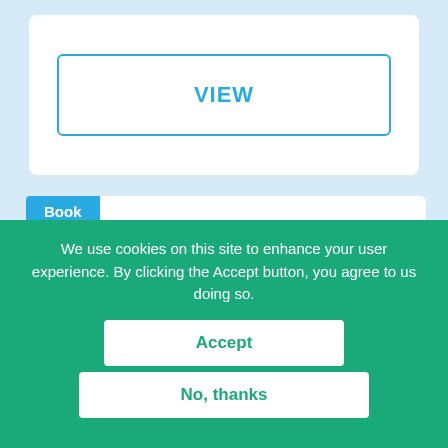VIEW
[Figure (illustration): Book cover showing 'THE WAY HOME FOR WOLF' with large bold text, black uppercase title text on top and large blue letters below]
Book
Feedback
We use cookies on this site to enhance your user experience. By clicking the Accept button, you agree to us doing so.
Accept
No, thanks